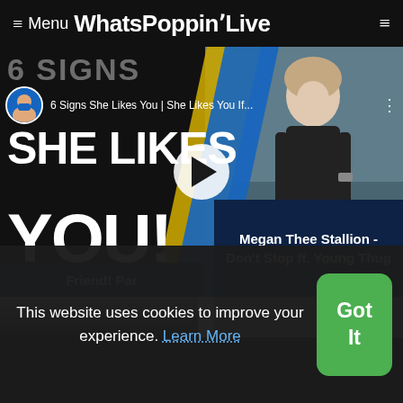≡ Menu WhatsPoppinʼLive
[Figure (screenshot): YouTube video thumbnail showing '6 Signs She Likes You | She Likes You If...' with large text 'SHE LIKES YOU!' on left side and a woman in black dress on right side, with play button overlay. Below the video are two card overlays: 'Friend! Par' on the left and 'Megan Thee Stallion - Don't Stop ft. Young Thug' on the right. A second row of thumbnails is partially visible below.]
This website uses cookies to improve your experience. Learn More
Got It